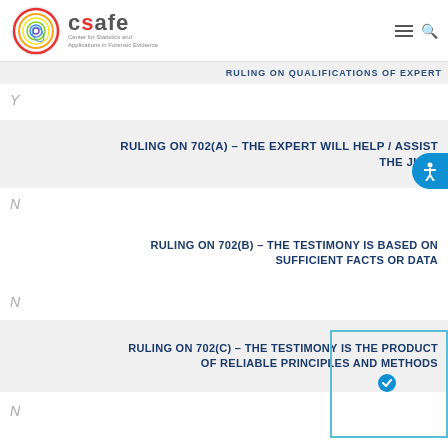CSAFE – Center for Statistics and Applications in Forensic Evidence
RULING ON QUALIFICATIONS OF EXPERT
Y
RULING ON 702(A) – THE EXPERT WILL HELP / ASSIST THE JURY
N
RULING ON 702(B) – THE TESTIMONY IS BASED ON SUFFICIENT FACTS OR DATA
N
RULING ON 702(C) – THE TESTIMONY IS THE PRODUCT OF RELIABLE PRINCIPLES AND METHODS
N